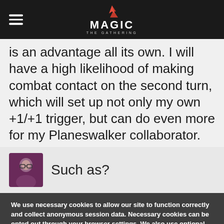MAGIC THE GATHERING
is an advantage all its own. I will have a high likelihood of making combat contact on the second turn, which will set up not only my own +1/+1 trigger, but can do even more for my Planeswalker collaborator.
Such as?
We use necessary cookies to allow our site to function correctly and collect anonymous session data. Necessary cookies can be opted out through your browser settings. We also use optional cookies to personalize content and ads, provide social medial features and analyze web traffic. By clicking “OK, I agree,” you consent to optional cookies. (Learn more about cookies.)
OK, I agree    No, thanks